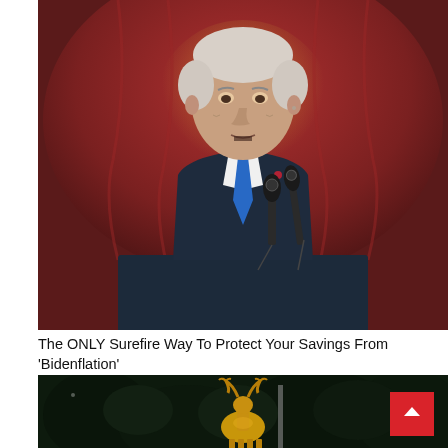[Figure (photo): An older man with white hair in a dark navy suit and blue tie speaking at a podium with multiple microphones, against a blurred red and gold background.]
The ONLY Surefire Way To Protect Your Savings From ‘Bidenflation’
[Figure (photo): A nighttime outdoor scene showing what appears to be a golden deer or elk statue/ornament among dark trees and foliage.]